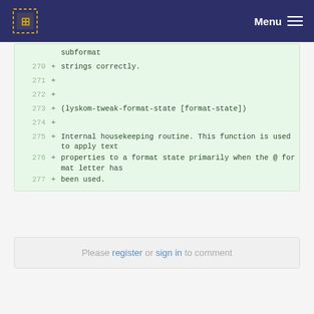Menu
subformat
270 + strings correctly.
271 +
272 +
273 + (lyskom-tweak-format-state [format-state])
274 +
275 + Internal housekeeping routine. This function is used to apply text
276 + properties to a format state primarily when the @ format letter has
277 + been used.
Please register or sign in to comment